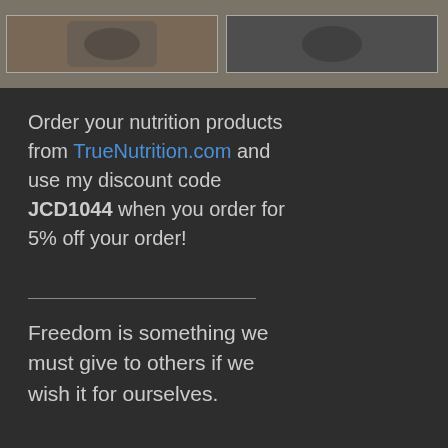[Figure (photo): Two photos side by side at the top of the page, showing fitness/nutrition related items on a dark background]
Order your nutrition products from TrueNutrition.com and use my discount code JCD1044 when you order for 5% off your order!
Freedom is something we must give to others if we wish it for ourselves.